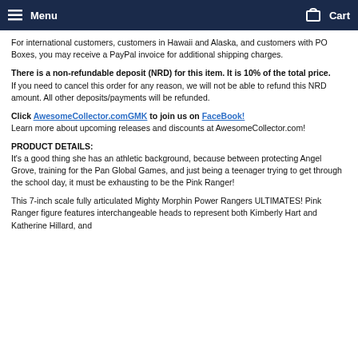Menu   Cart
For international customers, customers in Hawaii and Alaska, and customers with PO Boxes, you may receive a PayPal invoice for additional shipping charges.
There is a non-refundable deposit (NRD) for this item. It is 10% of the total price. If you need to cancel this order for any reason, we will not be able to refund this NRD amount. All other deposits/payments will be refunded.
Click AwesomeCollector.comGMK to join us on FaceBook! Learn more about upcoming releases and discounts at AwesomeCollector.com!
PRODUCT DETAILS:
It's a good thing she has an athletic background, because between protecting Angel Grove, training for the Pan Global Games, and just being a teenager trying to get through the school day, it must be exhausting to be the Pink Ranger!
This 7-inch scale fully articulated Mighty Morphin Power Rangers ULTIMATES! Pink Ranger figure features interchangeable heads to represent both Kimberly Hart and Katherine Hillard, and